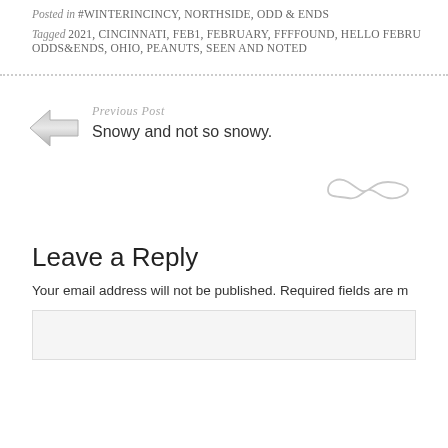Posted in #WINTERINCINCY, NORTHSIDE, ODD & ENDS
Tagged 2021, CINCINNATI, FEB1, FEBRUARY, FFFFOUND, HELLO FEBRU ODDS&ENDS, OHIO, PEANUTS, SEEN AND NOTED
Previous Post
Snowy and not so snowy.
[Figure (illustration): Decorative infinity/swirl symbol divider]
Leave a Reply
Your email address will not be published. Required fields are m